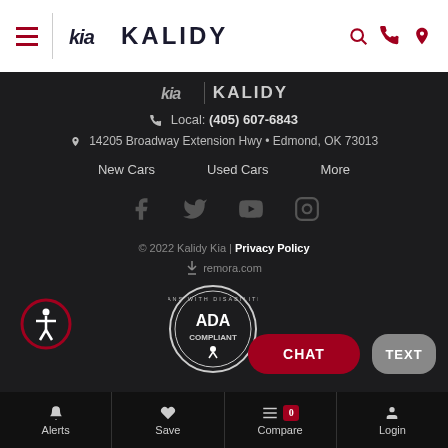KIA | KALIDY
[Figure (logo): Kia Kalidy dealership logo with Kia wordmark and KALIDY brand name in dark section footer]
Local: (405) 607-6843
14205 Broadway Extension Hwy • Edmond, OK 73013
New Cars
Used Cars
More
[Figure (infographic): Social media icons: Facebook, Twitter, YouTube, Instagram]
© 2022 Kalidy Kia | Privacy Policy
remora.com
[Figure (logo): ADA Compliant badge - Americans with Disabilities Act]
Alerts | Save | Compare 0 | Login